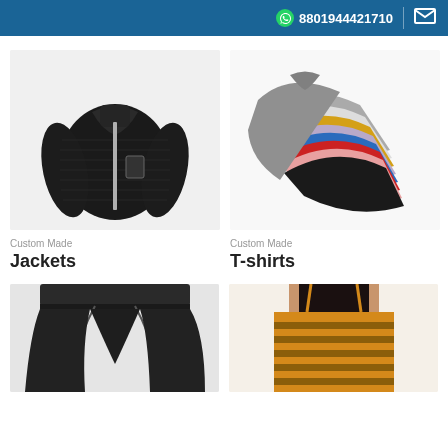8801944421710
[Figure (photo): Black quilted puffer jacket on white/light gray background]
Custom Made
Jackets
[Figure (photo): Stack of folded t-shirts in multiple colors: gray, white, yellow, blue, red, pink, black, lavender]
Custom Made
T-shirts
[Figure (photo): Black jogger/sweatpants with drawstring, partial view]
[Figure (photo): Woman wearing mustard yellow striped crop top/camisole, partial torso view]